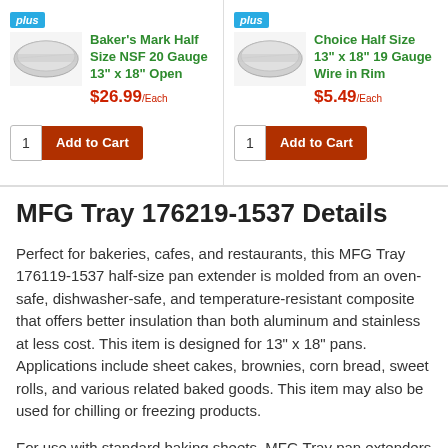[Figure (photo): Baker's Mark Half Size NSF 20 Gauge 13" x 18" Open baking sheet product image]
Baker's Mark Half Size NSF 20 Gauge 13" x 18" Open
$26.99/Each
[Figure (photo): Choice Half Size 13" x 18" 19 Gauge Wire in Rim baking sheet product image]
Choice Half Size 13" x 18" 19 Gauge Wire in Rim
$5.49/Each
MFG Tray 176219-1537 Details
Perfect for bakeries, cafes, and restaurants, this MFG Tray 176119-1537 half-size pan extender is molded from an oven-safe, dishwasher-safe, and temperature-resistant composite that offers better insulation than both aluminum and stainless at less cost. This item is designed for 13" x 18" pans. Applications include sheet cakes, brownies, corn bread, sweet rolls, and various related baked goods. This item may also be used for chilling or freezing products.
For use with standard baking sheets, MFG Tray pan extenders result in straight sides and edges on baked goods so that every piece has the appearance of a center cut. This extender ensures